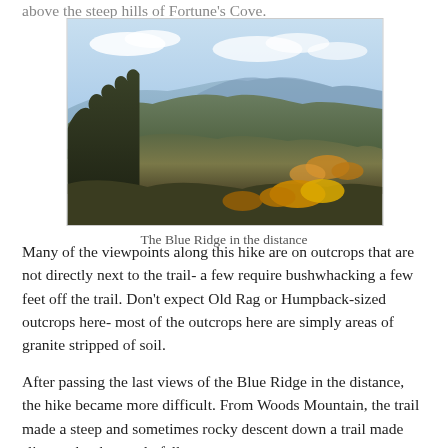above the steep hills of Fortune's Cove.
[Figure (photo): A panoramic autumn mountain landscape showing rolling forested hills in fall colors with the Blue Ridge mountains visible in the distance under a partly cloudy sky.]
The Blue Ridge in the distance
Many of the viewpoints along this hike are on outcrops that are not directly next to the trail- a few require bushwhacking a few feet off the trail. Don't expect Old Rag or Humpback-sized outcrops here- most of the outcrops here are simply areas of granite stripped of soil.
After passing the last views of the Blue Ridge in the distance, the hike became more difficult. From Woods Mountain, the trail made a steep and sometimes rocky descent down a trail made slippery by the newly fallen